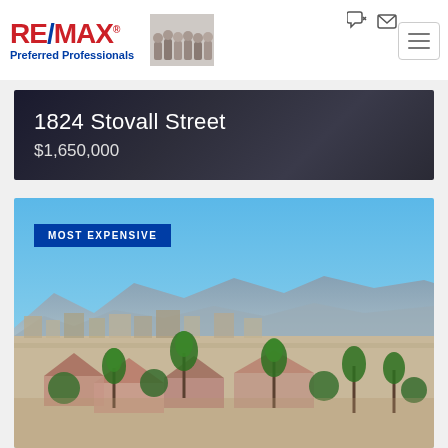[Figure (logo): RE/MAX Preferred Professionals logo with team photo]
1824 Stovall Street
$1,650,000
[Figure (photo): Aerial view of a desert city with mountains in background, blue sky, palm trees and residential properties visible. Badge reads MOST EXPENSIVE.]